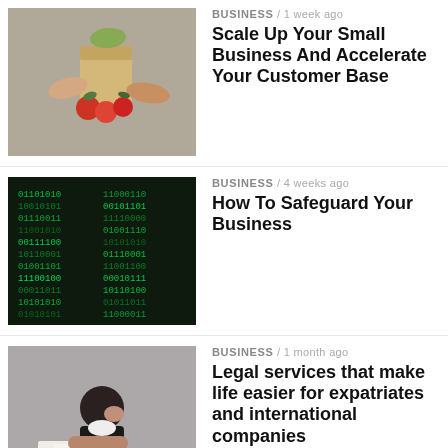[Figure (photo): Hands exchanging a paper bag of produce at a market stall with tomatoes and other vegetables]
BUSINESS / 1 week ago
Scale Up Your Small Business And Accelerate Your Customer Base
[Figure (photo): Green matrix-style digital rain / cybersecurity background]
BUSINESS / 4 weeks ago
How To Safeguard Your Business
[Figure (photo): Stressed businesswoman sitting at desk with papers]
BUSINESS / 1 month ago
Legal services that make life easier for expatriates and international companies
[Figure (photo): Person wearing athletic shoes working with nautical equipment and ropes]
SPORTS / 2 months ago
3 Knots Of Nautical Advice For Newbie Sailors
[Figure (photo): Cash money and financial documents on a dark surface]
BUSINESS / 2 months ago
4 Changes to Increase Your Bottom Line: Dip in Revenue? No Problem!